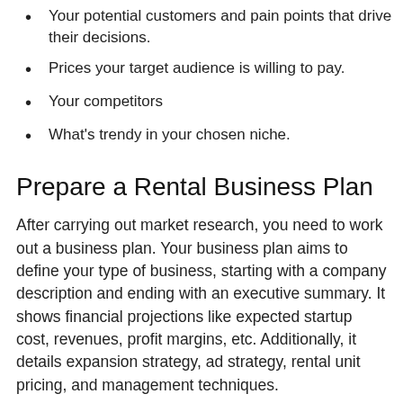Your potential customers and pain points that drive their decisions.
Prices your target audience is willing to pay.
Your competitors
What's trendy in your chosen niche.
Prepare a Rental Business Plan
After carrying out market research, you need to work out a business plan. Your business plan aims to define your type of business, starting with a company description and ending with an executive summary. It shows financial projections like expected startup cost, revenues, profit margins, etc. Additionally, it details expansion strategy, ad strategy, rental unit pricing, and management techniques.
Create a Robust Rental App or Software System